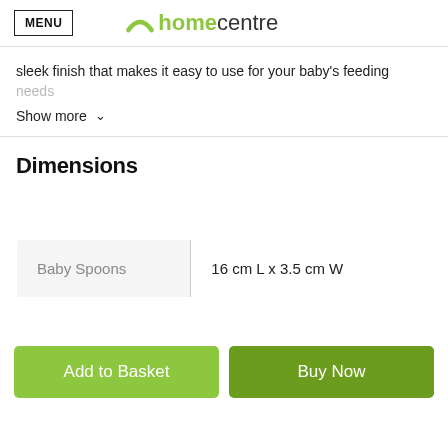MENU | homecentre
sleek finish that makes it easy to use for your baby's feeding needs
Show more
Dimensions
|  |  |
| --- | --- |
| Baby Spoons | 16 cm L x 3.5 cm W |
Add to Basket
Buy Now